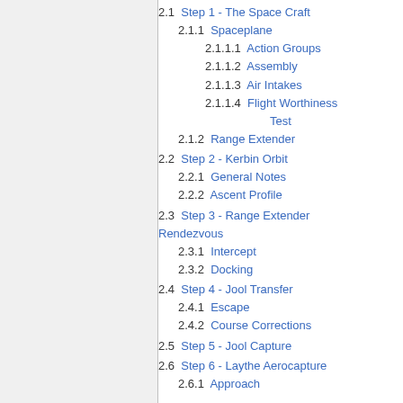2.1  Step 1 - The Space Craft
2.1.1  Spaceplane
2.1.1.1  Action Groups
2.1.1.2  Assembly
2.1.1.3  Air Intakes
2.1.1.4  Flight Worthiness Test
2.1.2  Range Extender
2.2  Step 2 - Kerbin Orbit
2.2.1  General Notes
2.2.2  Ascent Profile
2.3  Step 3 - Range Extender Rendezvous
2.3.1  Intercept
2.3.2  Docking
2.4  Step 4 - Jool Transfer
2.4.1  Escape
2.4.2  Course Corrections
2.5  Step 5 - Jool Capture
2.6  Step 6 - Laythe Aerocapture
2.6.1  Approach